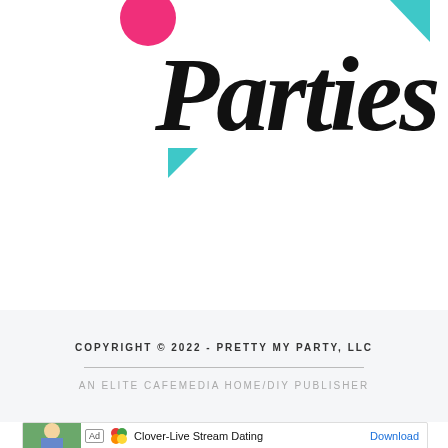[Figure (logo): Pretty My Parties logo with colorful geometric shapes (pink circle, teal triangles) and script text 'Parties' in black handwritten font]
COPYRIGHT © 2022 - PRETTY MY PARTY, LLC
AN ELITE CAFEMEDIA HOME/DIY PUBLISHER
[Figure (screenshot): Ad banner: Clover-Live Stream Dating app advertisement with Download button]